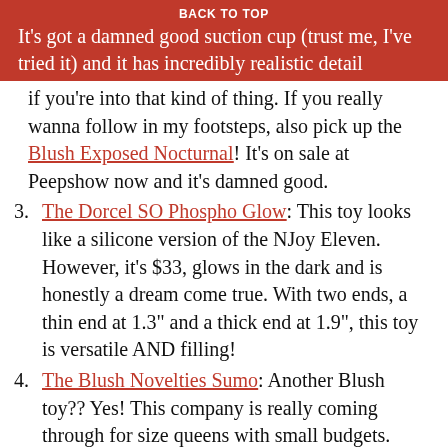BACK TO TOP
It's got a damned good suction cup (trust me, I've tried it) and it has incredibly realistic detail if you're into that kind of thing. If you really wanna follow in my footsteps, also pick up the Blush Exposed Nocturnal! It's on sale at Peepshow now and it's damned good.
3. The Dorcel SO Phospho Glow: This toy looks like a silicone version of the NJoy Eleven. However, it's $33, glows in the dark and is honestly a dream come true. With two ends, a thin end at 1.3" and a thick end at 1.9", this toy is versatile AND filling!
4. The Blush Novelties Sumo: Another Blush toy?? Yes! This company is really coming through for size queens with small budgets. This toy is a soft, dual density silicone with a thick, semi realistic look to it. It's a chunky 2 inches thick and 6.8 inches insertable. It comes in Indigo and Violet, has a suction cup, and the best part?